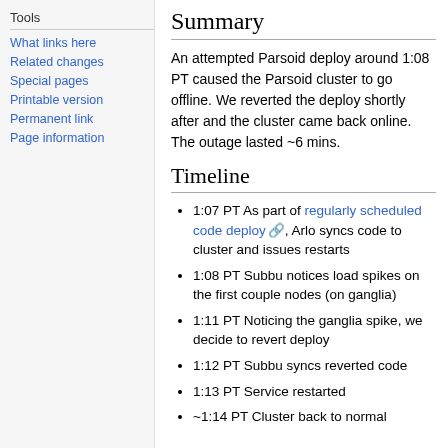Tools
What links here
Related changes
Special pages
Printable version
Permanent link
Page information
Summary
An attempted Parsoid deploy around 1:08 PT caused the Parsoid cluster to go offline. We reverted the deploy shortly after and the cluster came back online. The outage lasted ~6 mins.
Timeline
1:07 PT As part of regularly scheduled code deploy, Arlo syncs code to cluster and issues restarts
1:08 PT Subbu notices load spikes on the first couple nodes (on ganglia)
1:11 PT Noticing the ganglia spike, we decide to revert deploy
1:12 PT Subbu syncs reverted code
1:13 PT Service restarted
~1:14 PT Cluster back to normal